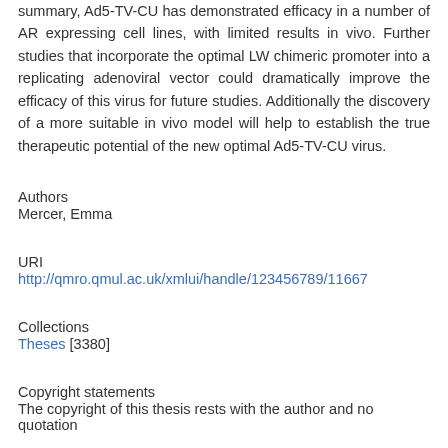summary, Ad5-TV-CU has demonstrated efficacy in a number of AR expressing cell lines, with limited results in vivo. Further studies that incorporate the optimal LW chimeric promoter into a replicating adenoviral vector could dramatically improve the efficacy of this virus for future studies. Additionally the discovery of a more suitable in vivo model will help to establish the true therapeutic potential of the new optimal Ad5-TV-CU virus.
Authors
Mercer, Emma
URI
http://qmro.qmul.ac.uk/xmlui/handle/123456789/11667
Collections
Theses [3380]
Copyright statements
The copyright of this thesis rests with the author and no quotation